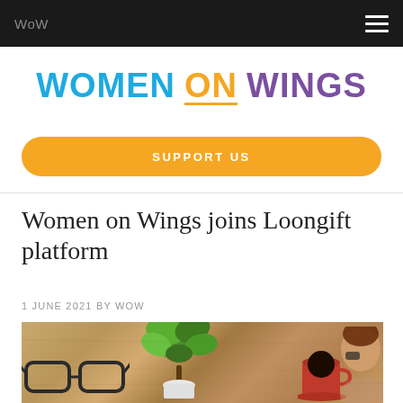WoW
[Figure (logo): Women on Wings logo with WOMEN in blue, ON in orange with underline, WINGS in purple]
SUPPORT US
Women on Wings joins Loongift platform
1 JUNE 2021 BY WOW
[Figure (photo): Overhead view of a wooden desk with a green potted plant, a pair of glasses, a red coffee cup, and a person with glasses visible in the background]